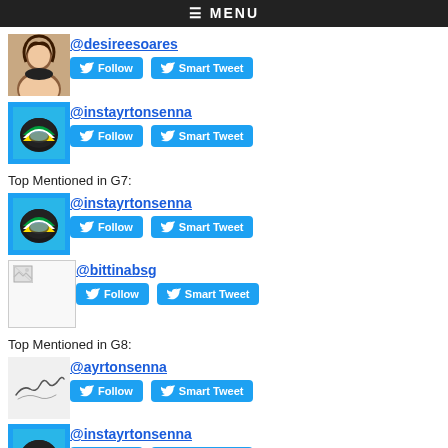≡ MENU
@desireesoares
Follow   Smart Tweet
@instayrtonsenna
Follow   Smart Tweet
Top Mentioned in G7:
@instayrtonsenna
Follow   Smart Tweet
@bittinabsg
Follow   Smart Tweet
Top Mentioned in G8:
@ayrtonsenna
Follow   Smart Tweet
@instayrtonsenna
Follow   Smart Tweet
@tassennaoficial